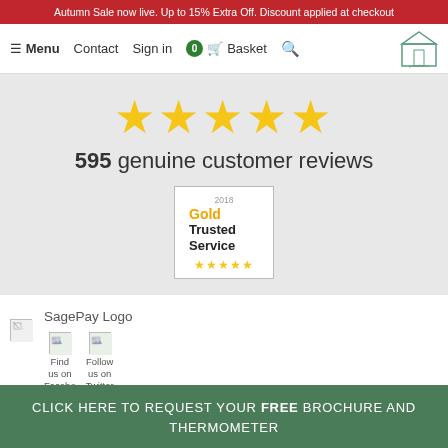Autumn Sale now live. Up to 15% Extra Off. Discount applied at checkout
Menu  Contact  Sign in  0 Basket
[Figure (other): Five gold star rating icons]
595 genuine customer reviews
[Figure (other): 2018 Gold Trusted Service badge with five gold stars]
[Figure (logo): SagePay Logo text with broken image icon]
[Figure (other): Find us on Facebook icon with broken image]
[Figure (other): Follow us on Twitter icon with broken image]
CLICK HERE TO REQUEST YOUR FREE BROCHURE AND THERMOMETER